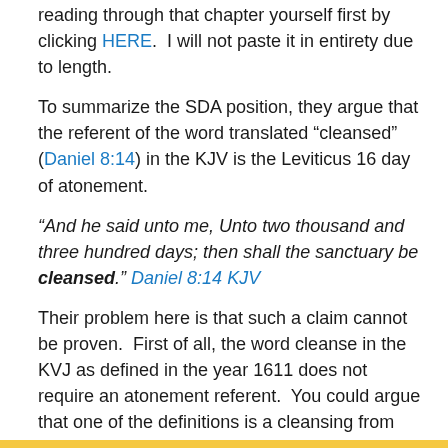reading through that chapter yourself first by clicking HERE.  I will not paste it in entirety due to length.
To summarize the SDA position, they argue that the referent of the word translated “cleansed” (Daniel 8:14) in the KJV is the Leviticus 16 day of atonement.
“And he said unto me, Unto two thousand and three hundred days; then shall the sanctuary be cleansed.” Daniel 8:14 KJV
Their problem here is that such a claim cannot be proven.  First of all, the word cleanse in the KVJ as defined in the year 1611 does not require an atonement referent.  You could argue that one of the definitions is a cleansing from sin, but other definitions include restoring and consecrating inanimate objects: